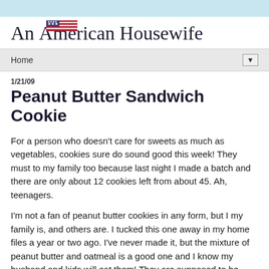[Figure (logo): An American Housewife cursive script logo with a small American flag graphic above the word 'American']
Home ▼
1/21/09
Peanut Butter Sandwich Cookie
For a person who doesn't care for sweets as much as vegetables, cookies sure do sound good this week! They must to my family too because last night I made a batch and there are only about 12 cookies left from about 45. Ah, teenagers.
I'm not a fan of peanut butter cookies in any form, but I my family is, and others are. I tucked this one away in my home files a year or two ago. I've never made it, but the mixture of peanut butter and oatmeal is a good one and I know my husband and kids will eat them! They are supposed to be